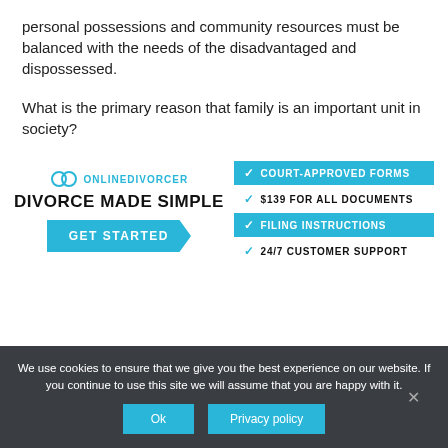personal possessions and community resources must be balanced with the needs of the disadvantaged and dispossessed.
What is the primary reason that family is an important unit in society?
[Figure (infographic): Online Divorcer advertisement banner showing logo, 'DIVORCE MADE SIMPLE' headline, GET STARTED button, and checklist of features: Court-Approved Forms, $139 For All Documents, Filing Instructions, 24/7 Customer Support]
We use cookies to ensure that we give you the best experience on our website. If you continue to use this site we will assume that you are happy with it.
Ok   Privacy policy